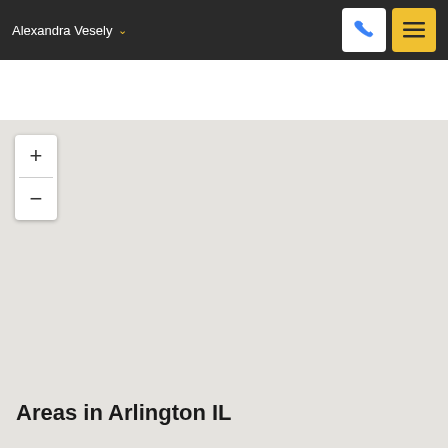Alexandra Vesely
[Figure (map): A blank/grey map view with zoom in (+) and zoom out (-) controls in the upper left corner. The map area shows a plain light grey background with no visible roads or features.]
Areas in Arlington IL